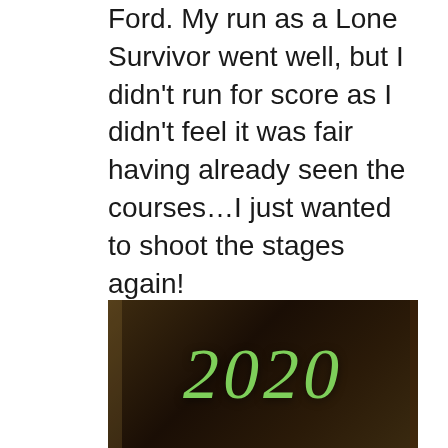Ford. My run as a Lone Survivor went well, but I didn't run for score as I didn't feel it was fair having already seen the courses…I just wanted to shoot the stages again!

Many thanks to the hardworking crew and Tiger Schultz to get this event to happen. Thank you to the sponsors and the Lucas Ranch for supporting the event. It looks like this will be my last RnG event of the year, and it was a high note to end on!
[Figure (photo): A black surface or mug with green cursive text reading '2020']